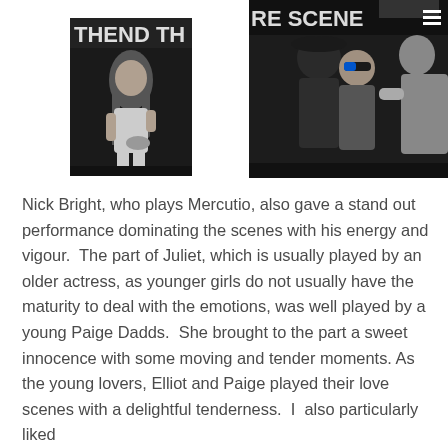[Figure (photo): Black and white photo of a young woman with long hair sitting, appearing to be reading or holding papers, on a dark stage. Partial text overlay 'THEND TH' visible at top.]
[Figure (photo): Black and white photo of two people on stage, one wearing sunglasses, another partially visible. Partial text overlay 'RE SCENE' visible at top.]
Nick Bright, who plays Mercutio, also gave a stand out performance dominating the scenes with his energy and vigour.  The part of Juliet, which is usually played by an older actress, as younger girls do not usually have the maturity to deal with the emotions, was well played by a young Paige Dadds.  She brought to the part a sweet innocence with some moving and tender moments. As the young lovers, Elliot and Paige played their love scenes with a delightful tenderness.  I  also particularly liked